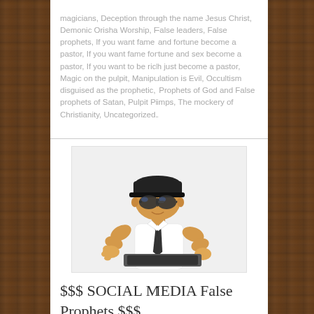magicians, Deception through the name Jesus Christ, Demonic Orisha Worship, False leaders, False prophets, If you want fame and fortune become a pastor, If you want fame fortune and sex become a pastor, If you want to be rich just become a pastor, Magic on the pulpit, Manipulation is Evil, Occultism disguised as the prophetic, Prophets of God and False prophets of Satan, Pulpit Pimps, The mockery of Christianity, Uncategorized.
[Figure (illustration): Cartoon illustration of a person wearing sunglasses, a dark cap, white shirt and tie, leaning over a laptop/tablet]
$$$ SOCIAL MEDIA False Prophets $$$